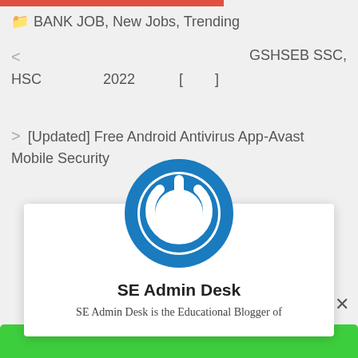BANK JOB, New Jobs, Trending
< GSHSEB SSC, HSC 2022 [ ]
> [Updated] Free Android Antivirus App-Avast Mobile Security
[Figure (logo): Blue circular power/on button icon — SE Admin Desk logo]
SE Admin Desk
SE Admin Desk is the Educational Blogger of